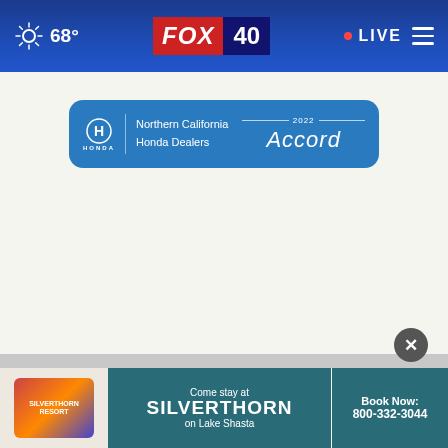68° FOX 40 LIVE
[Figure (logo): Northern California Honda Dealers 2022 Accord advertisement banner in blue rounded rectangle]
[Figure (logo): Silverthorn on Lake Shasta advertisement with logo, Come stay at SILVERTHORN on Lake Shasta, Book Now: 800-332-3044]